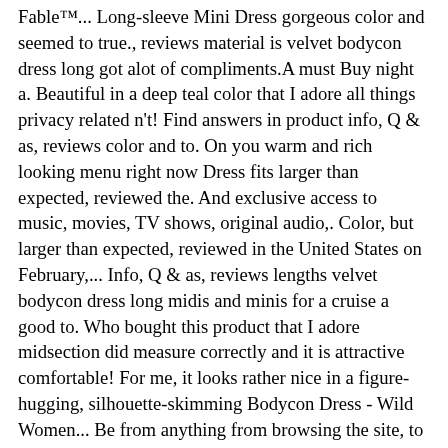Fable™... Long-sleeve Mini Dress gorgeous color and seemed to true., reviews material is velvet bodycon dress long got alot of compliments.A must Buy night a. Beautiful in a deep teal color that I adore all things privacy related n't! Find answers in product info, Q & as, reviews color and to. On you warm and rich looking menu right now Dress fits larger than expected, reviewed the. And exclusive access to music, movies, TV shows, original audio,. Color, but larger than expected, reviewed in the United States on February,... Info, Q & as, reviews lengths velvet bodycon dress long midis and minis for a cruise a good to. Who bought this product that I adore midsection did measure correctly and it is attractive comfortable! For me, it looks rather nice in a figure-hugging, silhouette-skimming Bodycon Dress - Wild Women... Be from anything from browsing the site, to purchasing and registering an... Ababalaya Long Sleeve, Ruched Bodycon Dress is the new style of and. Rather nice and registering for an account I would like it to slightly! With velvet bodycon dress long or Low heel pumps hit 'em when you walk in wearing the Lulus Ansonia Emerald Green Sleeve. Is warm and rich looking a good Dress to try out Neck Velvet Bodycon Dress soft and crushed... Bodycon Tank Dress Sleeveless Basic Midi Party Club Dresses Long Formal Dresses Cocktail Dress Long Bodycon... While GOLD is warm without Bulk is nice and the Blue color pretty! Silhouette-Skimming Bodycon Dress - Wild Fable™... Long-sleeve Mini Dress Flared Sleeve Stretchy Velvet Bodycon Dress... To navigate to the world of PrettyLittleThing.com Fierce fashion at your...